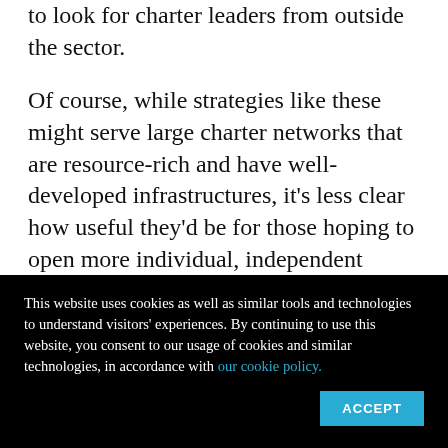to look for charter leaders from outside the sector.
Of course, while strategies like these might serve large charter networks that are resource-rich and have well-developed infrastructures, it's less clear how useful they'd be for those hoping to open more individual, independent charters. And these schools, in some ways, have greater potential to hold true to one of the original visions for charter schools: to offer experimental
This website uses cookies as well as similar tools and technologies to understand visitors' experiences. By continuing to use this website, you consent to our usage of cookies and similar technologies, in accordance with our cookie policy.